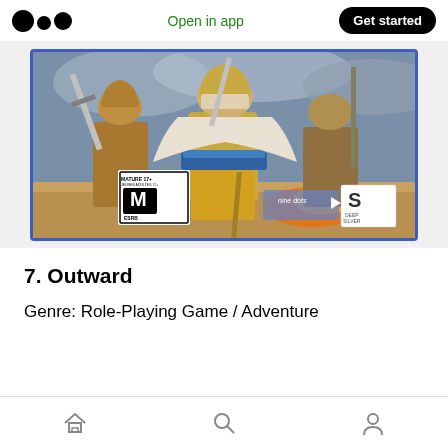Open in app  Get started
[Figure (photo): PlayStation 4 game box cover for Outward showing a warrior character in samurai-style armor holding weapons, with ESRB Mature 17+ rating, Nine Dots studio logo, and Deep Silver publisher logo]
7. Outward
Genre: Role-Playing Game / Adventure